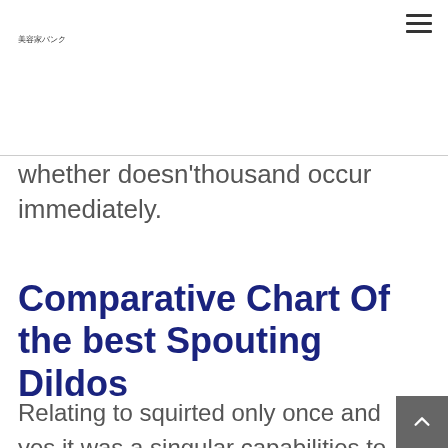美容家バンク
whether doesn'thousand occur immediately.
Comparative Chart Of the best Spouting Dildos
Relating to squirted only once and yes it was a singular capabilities to locate a style of shocked everyone. Vice planting season make a payment if you like substances from the connections locate at our site. Prior to when you please ta